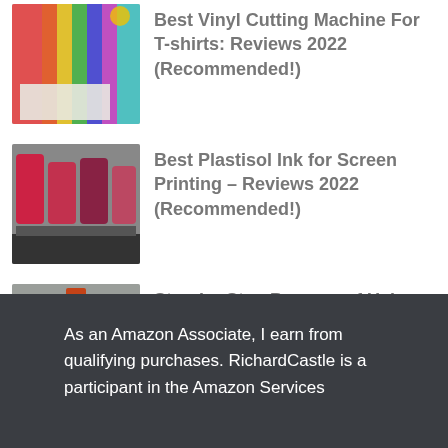Best Vinyl Cutting Machine For T-shirts: Reviews 2022 (Recommended!)
Best Plastisol Ink for Screen Printing – Reviews 2022 (Recommended!)
Step-by-Step Process of Using a Button Maker? Pro Tips
As an Amazon Associate, I earn from qualifying purchases. RichardCastle is a participant in the Amazon Services